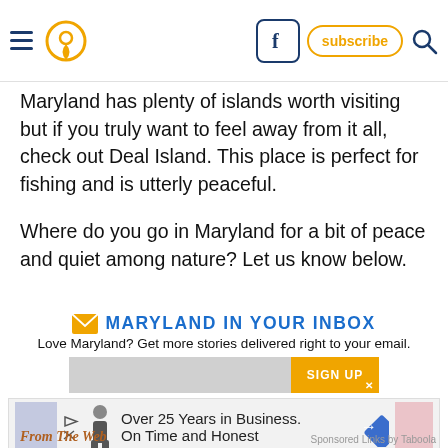[navigation header with hamburger menu, pin icon, Facebook button, subscribe button, search icon]
Maryland has plenty of islands worth visiting but if you truly want to feel away from it all, check out Deal Island. This place is perfect for fishing and is utterly peaceful.
Where do you go in Maryland for a bit of peace and quiet among nature? Let us know below.
MARYLAND IN YOUR INBOX
Love Maryland? Get more stories delivered right to your email.
[Figure (other): Email signup form with input field and orange SIGN UP button]
[Figure (other): Advertisement banner: Over 25 Years in Business. On Time and Honest]
From The Web
Sponsored Links by Taboola